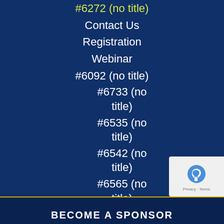#6272 (no title)
Contact Us
Registration
Webinar
#6092 (no title)
#6733 (no title)
#6535 (no title)
#6542 (no title)
#6565 (no title)
#6586 (no title)
BECOME A SPONSOR